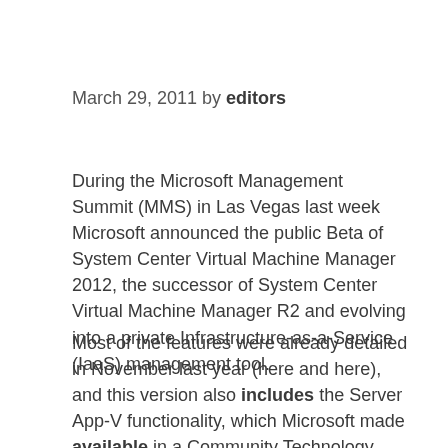March 29, 2011 by editors
During the Microsoft Management Summit (MMS) in Las Vegas last week Microsoft announced the public Beta of System Center Virtual Machine Manager 2012, the successor of System Center Virtual Machine Manager R2 and evolving into a private Infrastructure-as-a-Service (IaaS) management tool.
Most of the features were already detailed in November last year (here and here), and this version also includes the Server App-V functionality, which Microsoft made available in a Community Technology Preview (CTP) in December last year, also announcing that Server App-V will become available as a complementary technology to